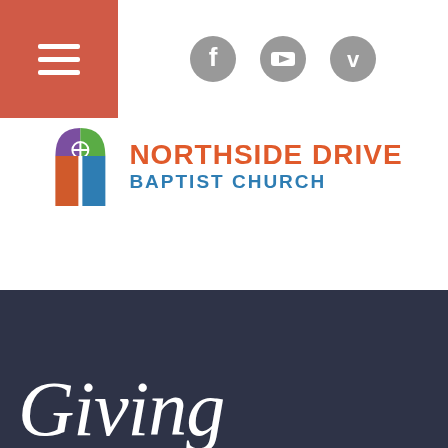Navigation header with hamburger menu and social icons (Facebook, YouTube, Vimeo)
[Figure (logo): Northside Drive Baptist Church logo with colorful arch/window icon and text]
Giving